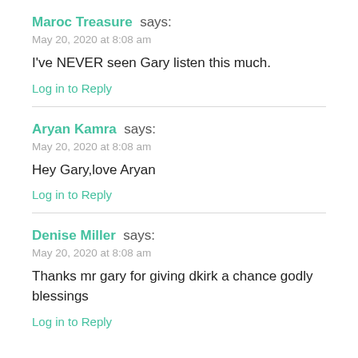Maroc Treasure says:
May 20, 2020 at 8:08 am
I've NEVER seen Gary listen this much.
Log in to Reply
Aryan Kamra says:
May 20, 2020 at 8:08 am
Hey Gary,love Aryan
Log in to Reply
Denise Miller says:
May 20, 2020 at 8:08 am
Thanks mr gary for giving dkirk a chance godly blessings
Log in to Reply